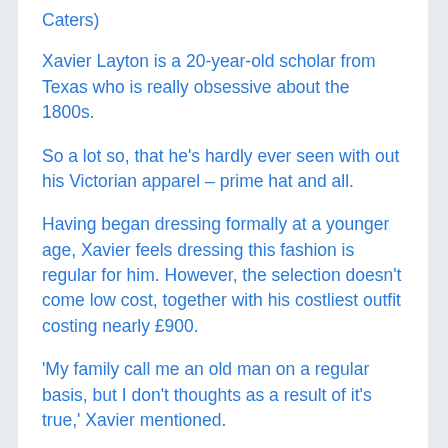Caters)
Xavier Layton is a 20-year-old scholar from Texas who is really obsessive about the 1800s.
So a lot so, that he's hardly ever seen with out his Victorian apparel – prime hat and all.
Having began dressing formally at a younger age, Xavier feels dressing this fashion is regular for him. However, the selection doesn't come low cost, together with his costliest outfit costing nearly £900.
'My family call me an old man on a regular basis, but I don't thoughts as a result of it's true,' Xavier mentioned.